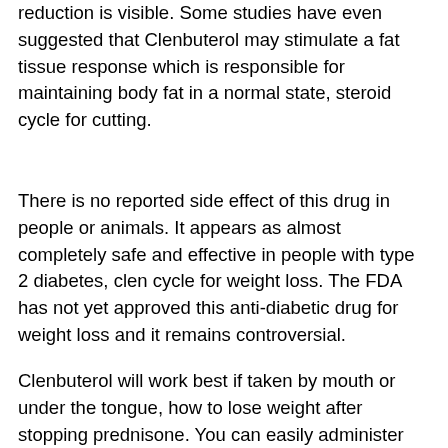reduction is visible. Some studies have even suggested that Clenbuterol may stimulate a fat tissue response which is responsible for maintaining body fat in a normal state, steroid cycle for cutting.
There is no reported side effect of this drug in people or animals. It appears as almost completely safe and effective in people with type 2 diabetes, clen cycle for weight loss. The FDA has not yet approved this anti-diabetic drug for weight loss and it remains controversial.
Clenbuterol will work best if taken by mouth or under the tongue, how to lose weight after stopping prednisone. You can easily administer Clenbuterol by mouth after you have already swallowed it so it should not be a problem for users. It also helps to use a prescription medication dispenser, cutting prohormones for sale. You will probably want